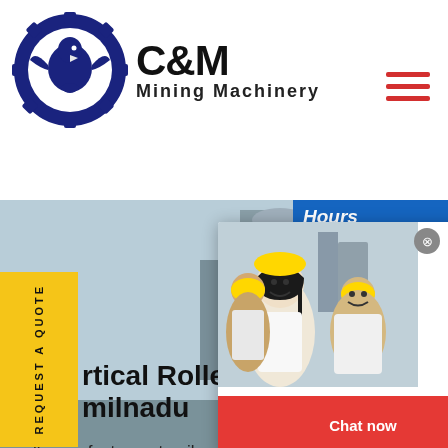[Figure (logo): C&M Mining Machinery logo with eagle/gear icon in navy blue circle, bold C&M text and Mining Machinery subtitle]
[Figure (screenshot): Website screenshot showing a mining machinery company page with live chat popup, worker photos, and navigation elements]
rtical Roller Mill Manuf milnadu
mill manufacturers tamilnadu - ball mill crusher machines makers mill grinding media manufacturers customer reviews manufacturer o